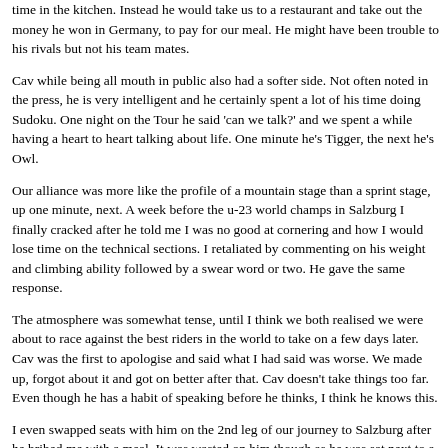time in the kitchen. Instead he would take us to a restaurant and take out the money he won in Germany, to pay for our meal. He might have been trouble to his rivals but not his team mates.
Cav while being all mouth in public also had a softer side. Not often noted in the press, he is very intelligent and he certainly spent a lot of his time doing Sudoku. One night on the Tour he said 'can we talk?' and we spent a while having a heart to heart talking about life. One minute he's Tigger, the next he's Owl.
Our alliance was more like the profile of a mountain stage than a sprint stage, up one minute, next. A week before the u-23 world champs in Salzburg I finally cracked after he told me I was no good at cornering and how I would lose time on the technical sections. I retaliated by commenting on his weight and climbing ability followed by a swear word or two. He gave the same response.
The atmosphere was somewhat tense, until I think we both realised we were about to race against the best riders in the world to take on a few days later. Cav was the first to apologise and said what I had said was worse. We made up, forgot about it and got on better after that. Cav doesn't take things too far. Even though he has a habit of speaking before he thinks, I think he knows this.
I even swapped seats with him on the 2nd leg of our journey to Salzburg after he bribed me with a meal. It was wasted on him though as he was sat next to a member of the press and daren't eat chocolate for fear of creating a bad impression. He was gutted about that.
In the worlds the team gave it 100% chasing the break on the last lap. Unfortu... Cav finished 11th. I was as upset as him, being part of a world champs winning...